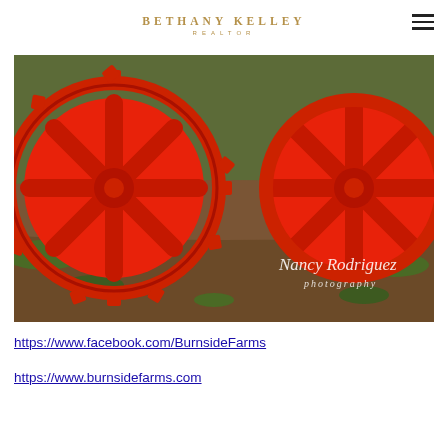BETHANY KELLEY REALTOR
[Figure (photo): Photo of red cast-iron gear wheels / farm implement resting on grass and soil, with Nancy Rodriguez photography watermark]
https://www.facebook.com/BurnsideFarms
https://www.burnsidefarms.com